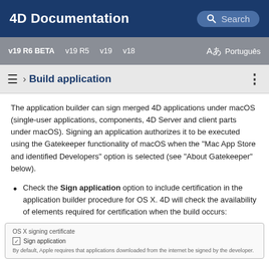4D Documentation
v19 R6 BETA  v19 R5  v19  v18  Aあ  Português
› Build application
The application builder can sign merged 4D applications under macOS (single-user applications, components, 4D Server and client parts under macOS). Signing an application authorizes it to be executed using the Gatekeeper functionality of macOS when the "Mac App Store and identified Developers" option is selected (see "About Gatekeeper" below).
Check the Sign application option to include certification in the application builder procedure for OS X. 4D will check the availability of elements required for certification when the build occurs:
[Figure (screenshot): Screenshot showing OS X signing certificate section with a checked 'Sign application' checkbox and text: By default, Apple requires that applications downloaded from the internet be signed by the developer.]